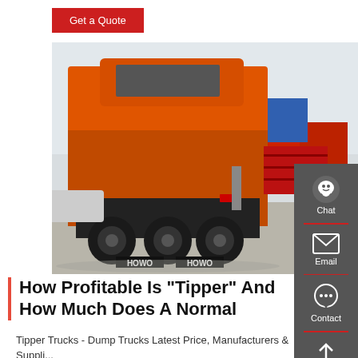Get a Quote
[Figure (photo): Rear view of an orange HOWO tractor truck in a vehicle lot with other trucks in the background. The truck has dual rear axles with large tires, visible red tail lights, and HOWO branding on the rear bumper.]
Chat
Email
Contact
Top
How Profitable Is "Tipper" And How Much Does A Normal
Tipper Trucks - Dump Trucks Latest Price, Manufacturers & Suppli...